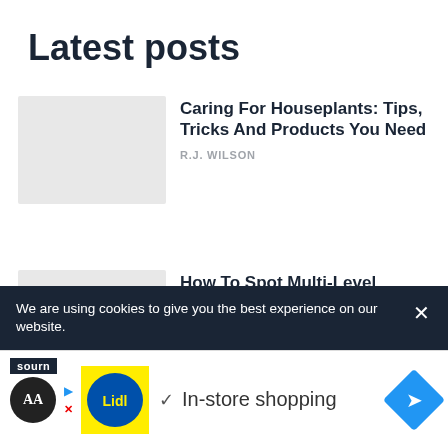Latest posts
Caring For Houseplants: Tips, Tricks And Products You Need
R.J. WILSON
How To Spot Multi-Level Marketing Scams, And How To Avoid Them
JAMIE WILES
We are using cookies to give you the best experience on our website.
[Figure (logo): SOURN logo text on dark background]
[Figure (infographic): Advertisement banner: Lidl logo with In-store shopping text and navigation arrow button, with AA accessibility button and play/close icons]